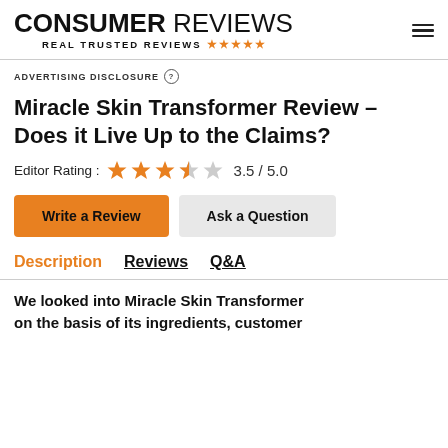CONSUMER REVIEWS — REAL TRUSTED REVIEWS
ADVERTISING DISCLOSURE
Miracle Skin Transformer Review – Does it Live Up to the Claims?
Editor Rating : 3.5 / 5.0
Write a Review | Ask a Question
Description | Reviews | Q&A
We looked into Miracle Skin Transformer on the basis of its ingredients, customer